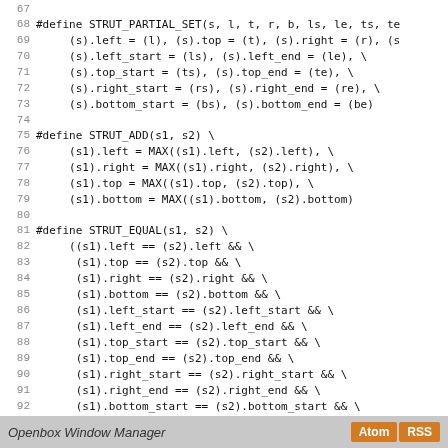Code listing lines 67–95: C preprocessor macros STRUT_PARTIAL_SET, STRUT_ADD, STRUT_EQUAL, and #endif
Openbox Window Manager  [Atom] [RSS]